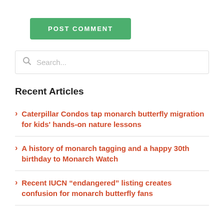POST COMMENT
Search...
Recent Articles
Caterpillar Condos tap monarch butterfly migration for kids' hands-on nature lessons
A history of monarch tagging and a happy 30th birthday to Monarch Watch
Recent IUCN “endangered” listing creates confusion for monarch butterfly fans